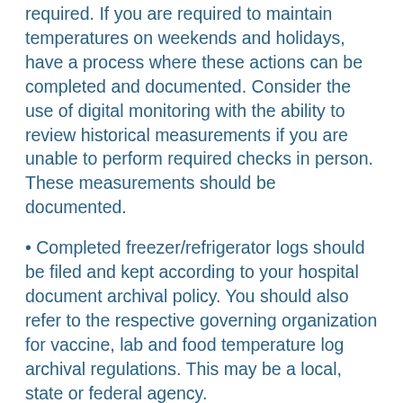required. If you are required to maintain temperatures on weekends and holidays, have a process where these actions can be completed and documented. Consider the use of digital monitoring with the ability to review historical measurements if you are unable to perform required checks in person. These measurements should be documented.
• Completed freezer/refrigerator logs should be filed and kept according to your hospital document archival policy. You should also refer to the respective governing organization for vaccine, lab and food temperature log archival regulations. This may be a local, state or federal agency.
• Leadership should be rounding for